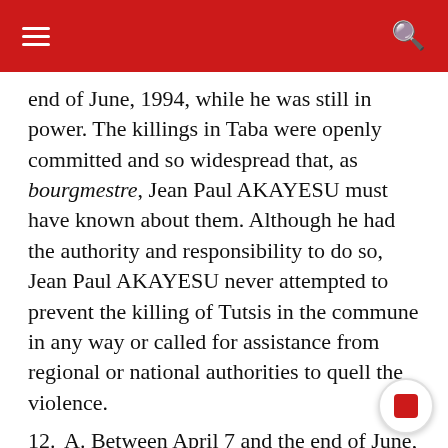end of June, 1994, while he was still in power. The killings in Taba were openly committed and so widespread that, as bourgmestre, Jean Paul AKAYESU must have known about them. Although he had the authority and responsibility to do so, Jean Paul AKAYESU never attempted to prevent the killing of Tutsis in the commune in any way or called for assistance from regional or national authorities to quell the violence.
12. A. Between April 7 and the end of June, 1994, hundreds of civilians (hereinafter “displaced civilians”) sought refuge at the